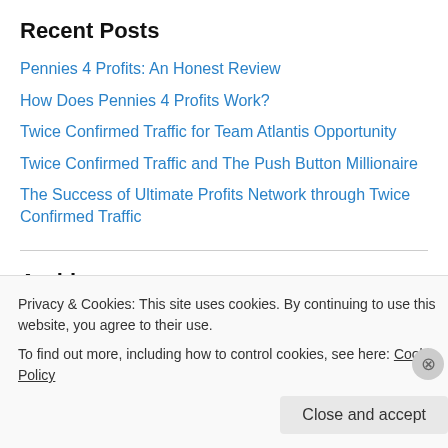Recent Posts
Pennies 4 Profits: An Honest Review
How Does Pennies 4 Profits Work?
Twice Confirmed Traffic for Team Atlantis Opportunity
Twice Confirmed Traffic and The Push Button Millionaire
The Success of Ultimate Profits Network through Twice Confirmed Traffic
Archives
October 2014
July 2014
Privacy & Cookies: This site uses cookies. By continuing to use this website, you agree to their use.
To find out more, including how to control cookies, see here: Cookie Policy
Close and accept